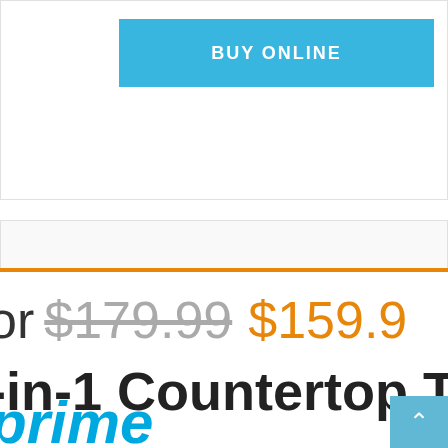[Figure (screenshot): Blue 'BUY ONLINE' button on white card area at top of page]
or $179.99 $159.9
-in-1 Countertop T
[Figure (logo): Amazon Prime logo — 'prime' in blue italic text]